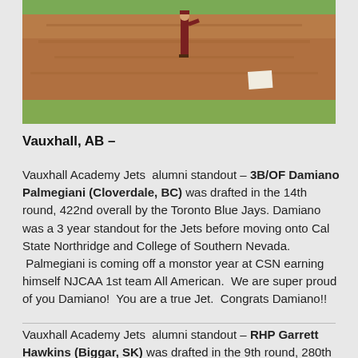[Figure (photo): Baseball player on a dirt infield near a base, seen from a distance. The player is wearing a dark uniform. The field has red-brown dirt and green grass visible.]
Vauxhall, AB –
Vauxhall Academy Jets  alumni standout – 3B/OF Damiano Palmegiani (Cloverdale, BC) was drafted in the 14th round, 422nd overall by the Toronto Blue Jays. Damiano was a 3 year standout for the Jets before moving onto Cal State Northridge and College of Southern Nevada.  Palmegiani is coming off a monstor year at CSN earning himself NJCAA 1st team All American.  We are super proud of you Damiano!  You are a true Jet.  Congrats Damiano!!
Vauxhall Academy Jets  alumni standout – RHP Garrett Hawkins (Biggar, SK) was drafted in the 9th round, 280th...